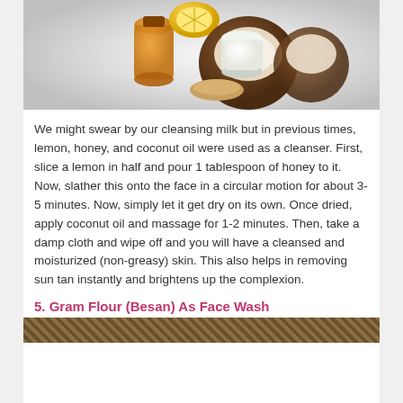[Figure (photo): Photo of honey jar, lemon slice, coconut halves and a jar of coconut oil/cream on a light background]
We might swear by our cleansing milk but in previous times, lemon, honey, and coconut oil were used as a cleanser. First, slice a lemon in half and pour 1 tablespoon of honey to it. Now, slather this onto the face in a circular motion for about 3-5 minutes. Now, simply let it get dry on its own. Once dried, apply coconut oil and massage for 1-2 minutes. Then, take a damp cloth and wipe off and you will have a cleansed and moisturized (non-greasy) skin. This also helps in removing sun tan instantly and brightens up the complexion.
5. Gram Flour (Besan) As Face Wash
[Figure (photo): Partial photo of gram flour or besan ingredients, green background visible at bottom of page]